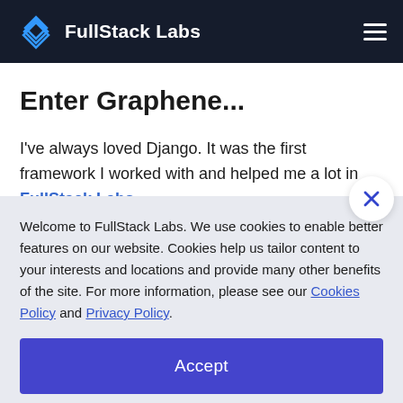FullStack Labs
Enter Graphene...
I've always loved Django. It was the first framework I worked with and helped me a lot in FullStack Labs
Welcome to FullStack Labs. We use cookies to enable better features on our website. Cookies help us tailor content to your interests and locations and provide many other benefits of the site. For more information, please see our Cookies Policy and Privacy Policy.
Accept
Deny